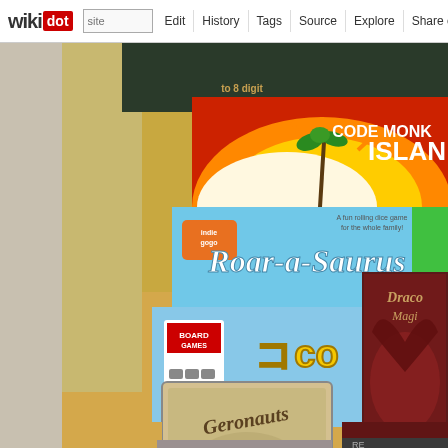wikidot | site | Edit | History | Tags | Source | Explore | Share on Twitter
[Figure (photo): Photograph of stacked board game boxes on a wooden floor. Visible games include: Code Monkey Island (red box, top right), Roar-a-Saurus (light blue box with cartoon text), a blue box partially showing 'cocon' (Coconuts game), Draco Magi (dark red/purple box with dragon), and Geronauts (small square game card/box at bottom left). Games are stacked and arranged on a light wood-colored surface.]